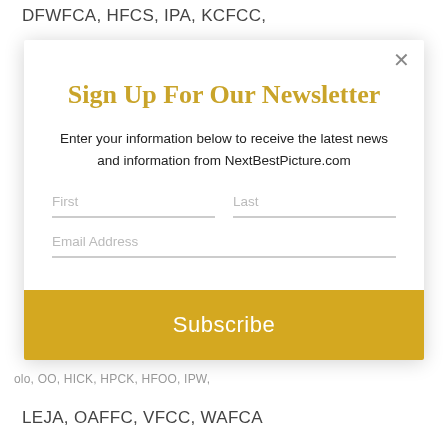DFWFCA, HFCS, IPA, KCFCC,
[Figure (screenshot): Newsletter sign-up modal popup with title 'Sign Up For Our Newsletter', subtitle text, First/Last name fields, Email Address field, and a yellow Subscribe button. An X close button is in the top right corner.]
LEJA, OAFFC, VFCC, WAFCA